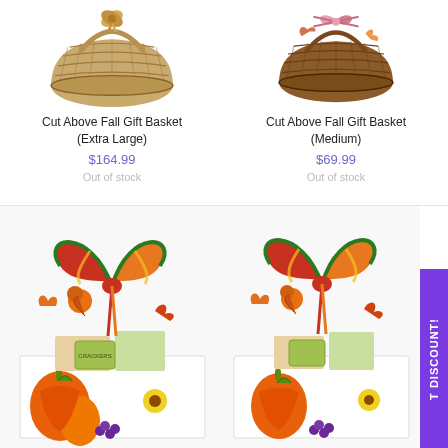[Figure (photo): Wicker gift basket with autumn bow - Extra Large]
Cut Above Fall Gift Basket (Extra Large)
$164.99
Out of stock
[Figure (photo): Wicker gift basket with pink autumn ribbon - Medium]
Cut Above Fall Gift Basket (Medium)
$69.99
Out of stock
[Figure (photo): Colorful fall gift box with striped bow, sunflowers, autumn leaves and harvest imagery]
[Figure (photo): Colorful fall gift box with striped bow, sunflowers, autumn leaves and harvest imagery (second)]